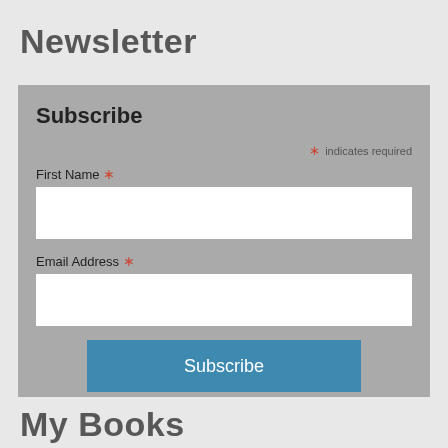Newsletter
Subscribe
* indicates required
First Name *
Email Address *
Subscribe
My Books